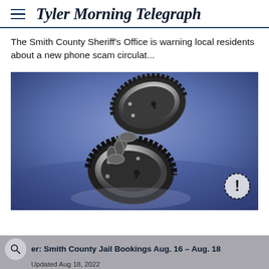Tyler Morning Telegraph
The Smith County Sheriff's Office is warning local residents about a new phone scam circulat...
[Figure (photo): Close-up photo of a pair of silver/chrome handcuffs on a blue surface, with a warning/exclamation mark icon overlaid in the bottom-right corner]
er: Smith County Jail Bookings Aug. 16 – Aug. 18
Updated Aug 18, 2022